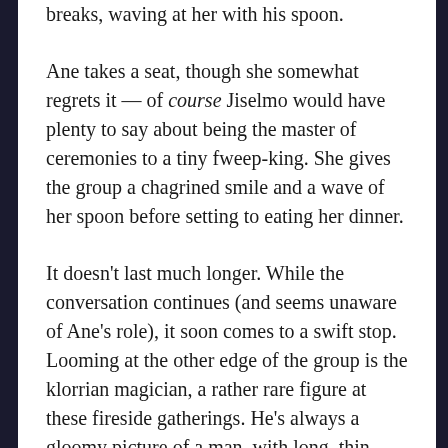breaks, waving at her with his spoon.
Ane takes a seat, though she somewhat regrets it — of course Jiselmo would have plenty to say about being the master of ceremonies to a tiny fweep-king. She gives the group a chagrined smile and a wave of her spoon before setting to eating her dinner.
It doesn't last much longer. While the conversation continues (and seems unaware of Ane's role), it soon comes to a swift stop. Looming at the other edge of the group is the klorrian magician, a rather rare figure at these fireside gatherings. He's always a gloomy picture of a man, with long, thin black hair and a gaunt, disapproving face. All this paired with his ostentatiously-dyed robes and air of importance. The look is only broken up by a pair